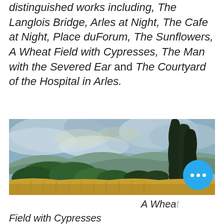distinguished works including, The Langlois Bridge, Arles at Night, The Cafe at Night, Place duForum, The Sunflowers, A Wheat Field with Cypresses, The Man with the Severed Ear and The Courtyard of the Hospital in Arles.
[Figure (photo): Painting by Van Gogh: A Wheat Field with Cypresses — a golden wheat field in the foreground with dark cypress trees on the right, swirling blue and white clouds in the sky above rolling hills.]
A Wheat Field with Cypresses